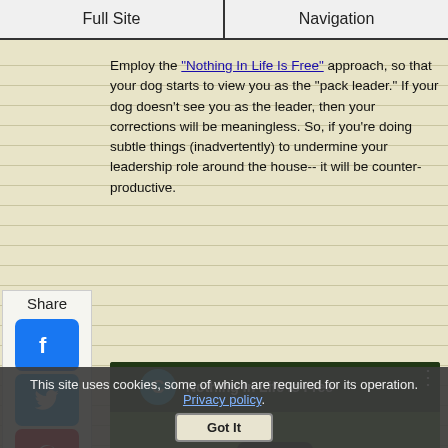Full Site | Navigation
Employ the "Nothing In Life Is Free" approach, so that your dog starts to view you as the "pack leader." If your dog doesn't see you as the leader, then your corrections will be meaningless. So, if you're doing subtle things (inadvertently) to undermine your leadership role around the house-- it will be counter-productive.
[Figure (screenshot): Embedded YouTube video titled 'Nothing In Life Is Free' showing a person walking a dog on a green lawn with a play button overlay.]
Be sure to sign up for our free:
This site uses cookies, some of which are required for its operation. Privacy policy. Got It